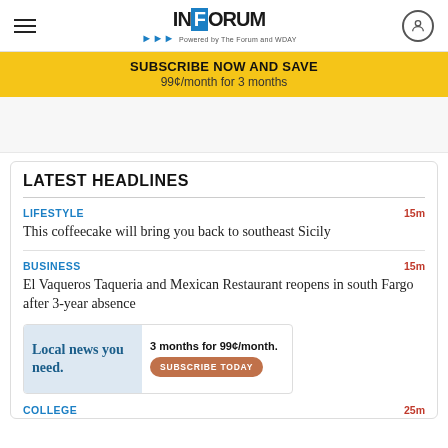INFORUM — Powered by The Forum and WDAY
SUBSCRIBE NOW AND SAVE
99¢/month for 3 months
[Figure (other): Advertisement space (blank)]
LATEST HEADLINES
LIFESTYLE  15m
This coffeecake will bring you back to southeast Sicily
BUSINESS  15m
El Vaqueros Taqueria and Mexican Restaurant reopens in south Fargo after 3-year absence
[Figure (infographic): Inline advertisement: Local news you need. 3 months for 99¢/month. SUBSCRIBE TODAY]
COLLEGE  25m